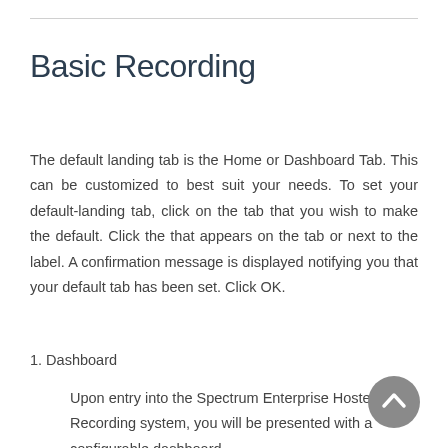Basic Recording
The default landing tab is the Home or Dashboard Tab. This can be customized to best suit your needs. To set your default-landing tab, click on the tab that you wish to make the default. Click the that appears on the tab or next to the label. A confirmation message is displayed notifying you that your default tab has been set. Click OK.
1. Dashboard
Upon entry into the Spectrum Enterprise Hosted Call Recording system, you will be presented with a configurable dashboard.